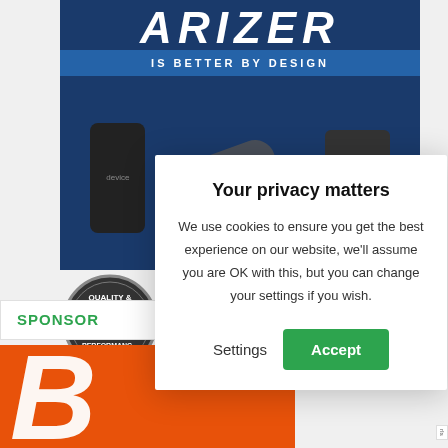[Figure (screenshot): Background webpage showing an advertisement for 'ARIZER' brand with tagline 'IS BETTER BY DESIGN', showing vaping/electronic devices on a dark blue background, with a sponsor section and an orange brand logo at the bottom]
Your privacy matters
We use cookies to ensure you get the best experience on our website, we'll assume you are OK with this, but you can change your settings if you wish.
Settings   Accept